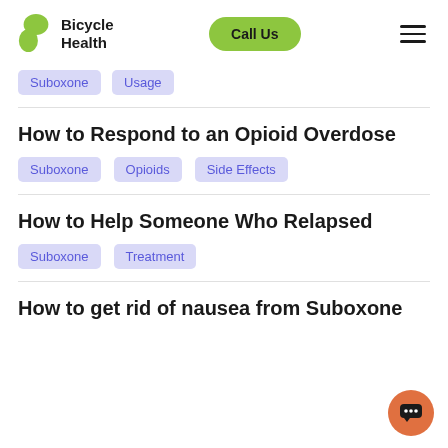Bicycle Health | Call Us
Suboxone | Usage
How to Respond to an Opioid Overdose
Suboxone | Opioids | Side Effects
How to Help Someone Who Relapsed
Suboxone | Treatment
How to get rid of nausea from Suboxone